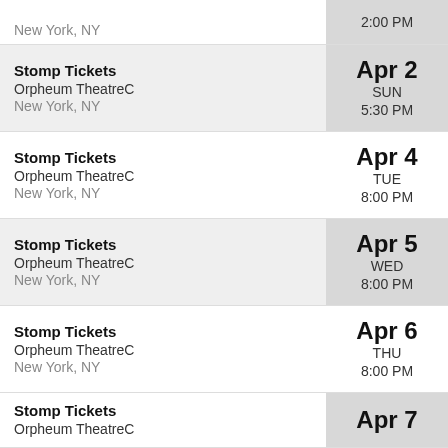New York, NY | 2:00 PM
Stomp Tickets | Orpheum TheatreC | New York, NY | Apr 2 SUN 5:30 PM
Stomp Tickets | Orpheum TheatreC | New York, NY | Apr 4 TUE 8:00 PM
Stomp Tickets | Orpheum TheatreC | New York, NY | Apr 5 WED 8:00 PM
Stomp Tickets | Orpheum TheatreC | New York, NY | Apr 6 THU 8:00 PM
Stomp Tickets | Orpheum TheatreC | Apr 7